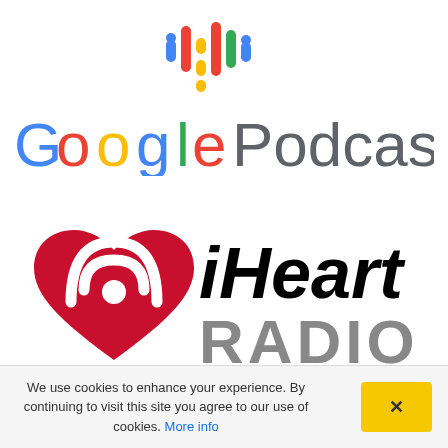[Figure (logo): Google Podcasts logo with colorful audio waveform bars icon above the text 'Google Podcasts' in Google brand colors]
[Figure (logo): iHeartRadio logo with red heart/broadcast icon on the left and 'iHeart RADIO' text on the right, 'iHeart' in black bold and 'RADIO' in gray]
We use cookies to enhance your experience. By continuing to visit this site you agree to our use of cookies. More info